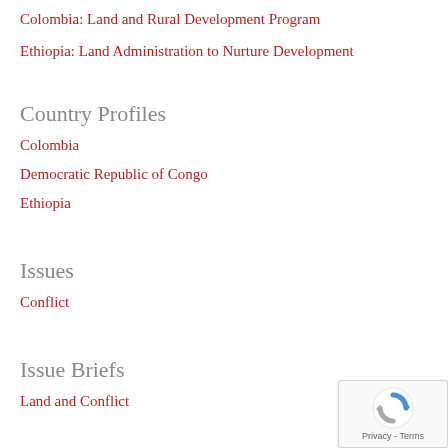Colombia: Land and Rural Development Program
Ethiopia: Land Administration to Nurture Development
Country Profiles
Colombia
Democratic Republic of Congo
Ethiopia
Issues
Conflict
Issue Briefs
Land and Conflict